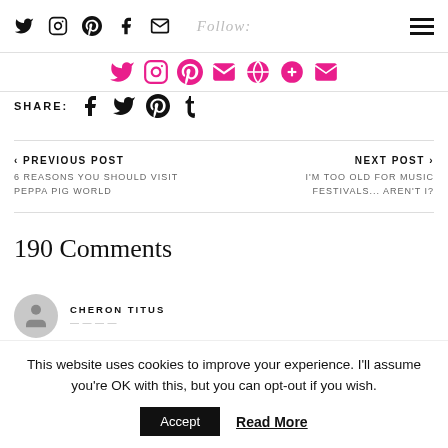Follow: [social icons row] [hamburger menu]
[Figure (infographic): Pink social media follow icons row: Twitter, Instagram, Pinterest, YouTube/mail, another icon, plus, mail]
SHARE: [Facebook] [Twitter] [Pinterest] [Tumblr]
< PREVIOUS POST
6 REASONS YOU SHOULD VISIT PEPPA PIG WORLD
NEXT POST >
I'M TOO OLD FOR MUSIC FESTIVALS... AREN'T I?
190 Comments
CHERON TITUS
This website uses cookies to improve your experience. I'll assume you're OK with this, but you can opt-out if you wish.
Accept   Read More